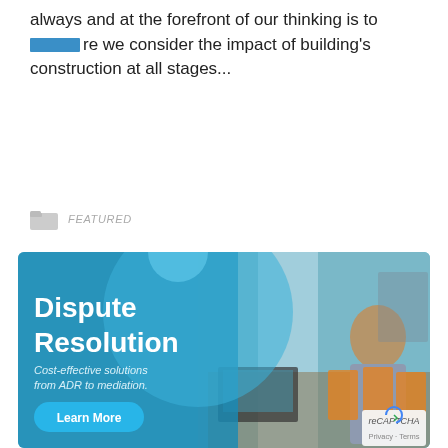always and at the forefront of our thinking is to [redacted]re we consider the impact of building's construction at all stages...
FEATURED
[Figure (photo): Banner image showing a professional dispute resolution setting with a man sitting at a desk with laptops and orange gift bags. Blue overlay with circular design element. Text: 'Dispute Resolution', 'Cost-effective solutions from ADR to mediation.', 'Learn More' button.]